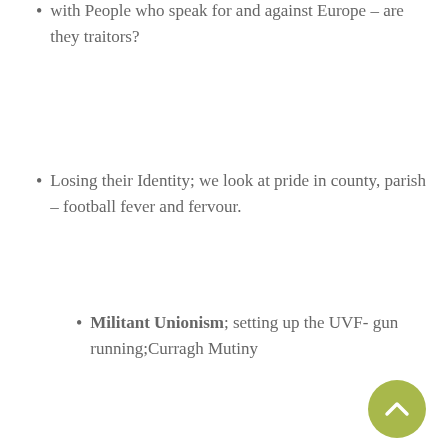with People who speak for and against Europe – are they traitors?
Losing their Identity; we look at pride in county, parish – football fever and fervour.
Militant Unionism; setting up the UVF- gun running;Curragh Mutiny
1914-18 War;Government of Ireland Act 1920, setting up the Northern State.
Militant Nationalism: 'We study the revival of the I.R.B.-Irish Volunteers- IRA-Sinn Fein:1916 Rising and its aftermath, and how the events of 1917-21 paved the